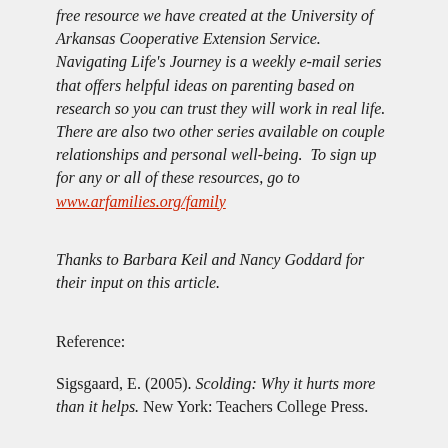free resource we have created at the University of Arkansas Cooperative Extension Service. Navigating Life's Journey is a weekly e-mail series that offers helpful ideas on parenting based on research so you can trust they will work in real life. There are also two other series available on couple relationships and personal well-being.  To sign up for any or all of these resources, go to www.arfamilies.org/family
Thanks to Barbara Keil and Nancy Goddard for their input on this article.
Reference:
Sigsgaard, E. (2005). Scolding: Why it hurts more than it helps. New York: Teachers College Press.